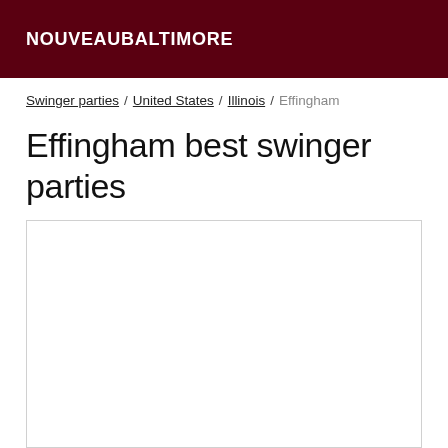NOUVEAUBALTIMORE
Swinger parties / United States / Illinois / Effingham
Effingham best swinger parties
[Figure (other): Empty white content box with border]